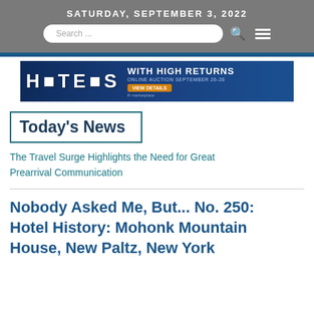SATURDAY, SEPTEMBER 3, 2022
Today's News
The Travel Surge Highlights the Need for Great Prearrival Communication
Nobody Asked Me, But... No. 250: Hotel History: Mohonk Mountain House, New Paltz, New York
[Figure (infographic): Advertisement banner for Hotels with High Returns, Online Auction September 26-28, View Details, Marketplace]